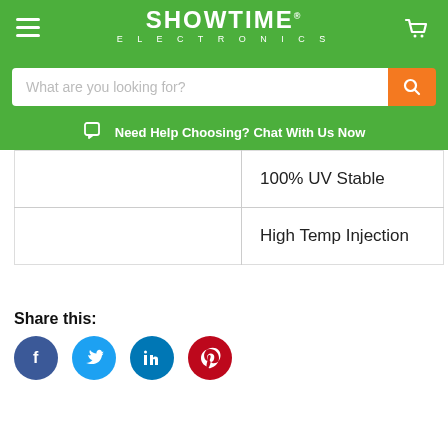[Figure (logo): Showtime Electronics logo with hamburger menu and cart icon on green background]
[Figure (screenshot): Search bar with placeholder 'What are you looking for?' and orange search button]
Need Help Choosing? Chat With Us Now
|  | 100% UV Stable |
|  | High Temp Injection |
Share this:
[Figure (infographic): Social media share icons: Facebook, Twitter, LinkedIn, Pinterest]